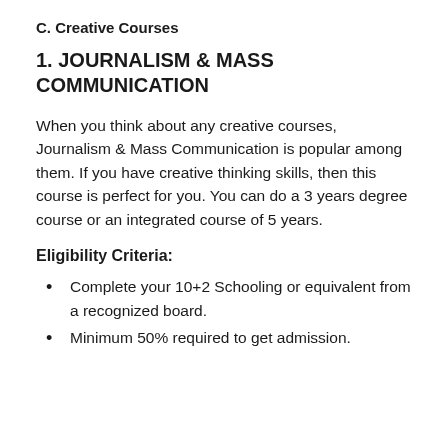C. Creative Courses
1. JOURNALISM & MASS COMMUNICATION
When you think about any creative courses, Journalism & Mass Communication is popular among them. If you have creative thinking skills, then this course is perfect for you. You can do a 3 years degree course or an integrated course of 5 years.
Eligibility Criteria:
Complete your 10+2 Schooling or equivalent from a recognized board.
Minimum 50% required to get admission.